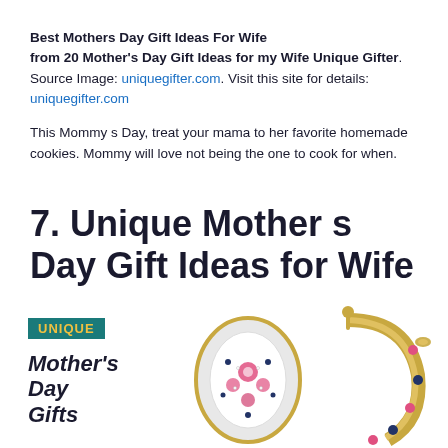Best Mothers Day Gift Ideas For Wife from 20 Mother's Day Gift Ideas for my Wife Unique Gifter. Source Image: uniquegifter.com. Visit this site for details: uniquegifter.com
This Mommy s Day, treat your mama to her favorite homemade cookies. Mommy will love not being the one to cook for when.
7. Unique Mother s Day Gift Ideas for Wife
[Figure (photo): Photo of jewelry (decorative earrings) with a 'UNIQUE' badge in teal and gold, and bold text reading 'Mother's Day Gifts' on the left side]